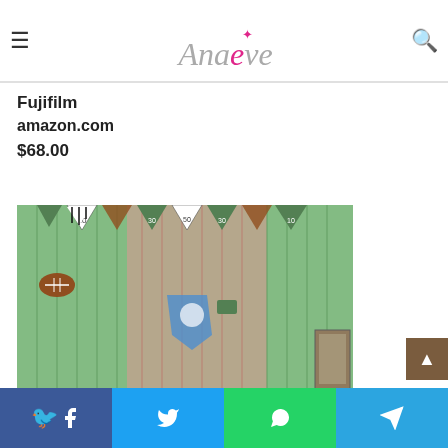Anaeve logo with hamburger menu and search icon
Fujifilm
amazon.com
$68.00
[Figure (photo): Football party decoration photo showing metallic fringe curtains in green and rose gold, with football-themed pennant banners displaying yard line numbers (10, 30, 50), football decorations, and party accessories]
Share buttons: Facebook, Twitter, WhatsApp, Telegram